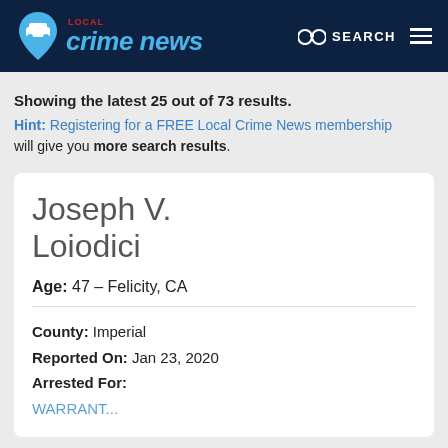[Figure (logo): Local Crime News logo with map pin icon and blue italic text]
Showing the latest 25 out of 73 results.
Hint: Registering for a FREE Local Crime News membership will give you more search results.
Joseph V. Loiodici
Age: 47 – Felicity, CA
County: Imperial
Reported On: Jan 23, 2020
Arrested For:
WARRANT...